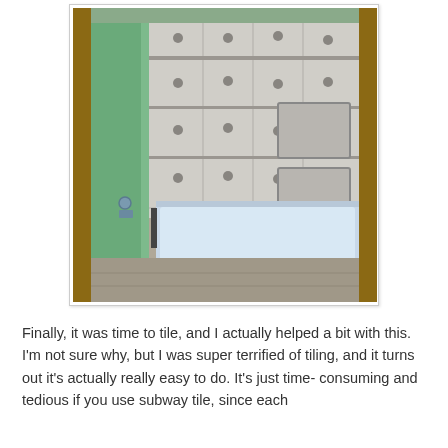[Figure (photo): A bathroom under construction showing green cement board/drywall on walls, cement board with tile spacers on the back wall around a bathtub, and a white bathtub insert partially installed. The floor is bare concrete. Wood framing is visible on the sides.]
Finally, it was time to tile, and I actually helped a bit with this. I'm not sure why, but I was super terrified of tiling, and it turns out it's actually really easy to do. It's just time-consuming and tedious if you use subway tile, since each...